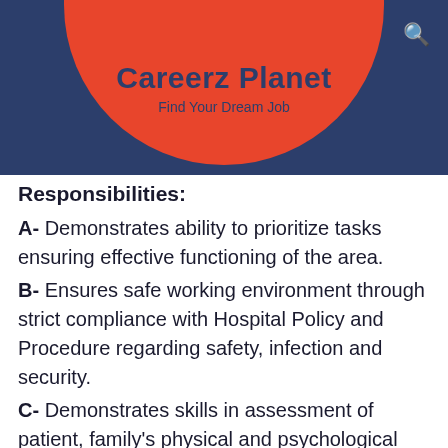Careerz Planet - Find Your Dream Job
Responsibilities:
A- Demonstrates ability to prioritize tasks ensuring effective functioning of the area.
B- Ensures safe working environment through strict compliance with Hospital Policy and Procedure regarding safety, infection and security.
C- Demonstrates skills in assessment of patient, family's physical and psychological